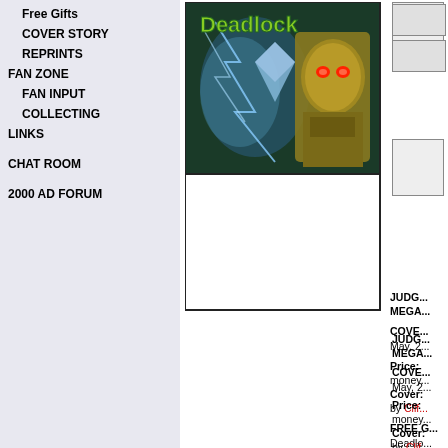Free Gifts
COVER STORY
REPRINTS
FAN ZONE
FAN INPUT
COLLECTING
LINKS
CHAT ROOM
2000 AD FORUM
[Figure (photo): Deadlock comic cover art showing a robot/masked character with glowing red eyes against a dark mystical background with lightning effects]
JUDGE DREDD MEGA...
COVER... May, 2...
Price: money... Cover: by Clif...
FREE G... Deadlo... Termig... section... separa...
CONTE...
Four-C... Classi...
Immigr... episod...